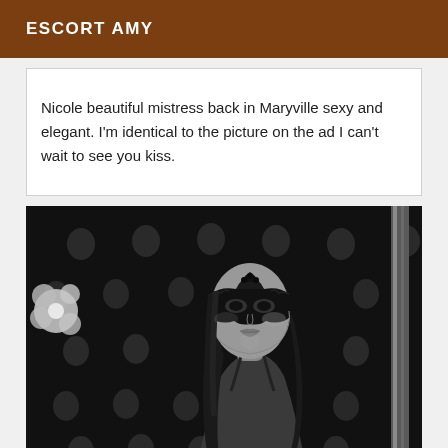ESCORT AMY
Nicole beautiful mistress back in Maryville sexy and elegant. I'm identical to the picture on the ad I can't wait to see you kiss.
[Figure (photo): Black and white photograph of a woman wearing an ornate black lace masquerade mask, with long dark hair, looking upward, against a dark background decorated with small decorative skull-like faces. A metallic pole is visible on the right side and a white floral decoration on the left.]